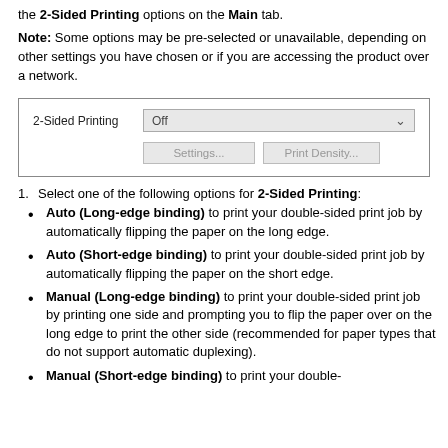the 2-Sided Printing options on the Main tab.
Note: Some options may be pre-selected or unavailable, depending on other settings you have chosen or if you are accessing the product over a network.
[Figure (screenshot): UI dialog showing '2-Sided Printing' label with a dropdown set to 'Off' and two buttons: 'Settings...' and 'Print Density...']
1. Select one of the following options for 2-Sided Printing:
Auto (Long-edge binding) to print your double-sided print job by automatically flipping the paper on the long edge.
Auto (Short-edge binding) to print your double-sided print job by automatically flipping the paper on the short edge.
Manual (Long-edge binding) to print your double-sided print job by printing one side and prompting you to flip the paper over on the long edge to print the other side (recommended for paper types that do not support automatic duplexing).
Manual (Short-edge binding) to print your double-sided...